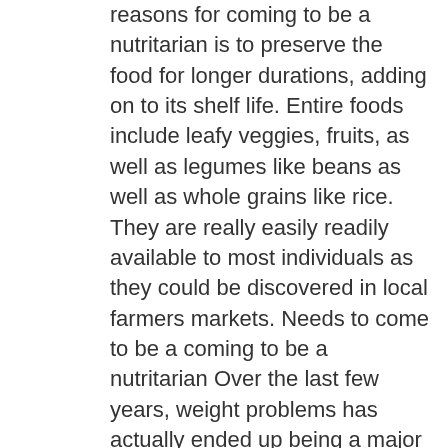reasons for coming to be a nutritarian is to preserve the food for longer durations, adding on to its shelf life. Entire foods include leafy veggies, fruits, as well as legumes like beans as well as whole grains like rice. They are really easily readily available to most individuals as they could be discovered in local farmers markets. Needs to come to be a coming to be a nutritarian Over the last few years, weight problems has actually ended up being a major issue, one that most of our predecessors never ever actually pictured. Among the significant causes of weight problems is processed foods. Refined foods are high in calories and also for that reason it becomes very easy to cross the overweight line. There are numerous tv programs which aid audiences trip into the day-to-day lives of overweight people. In most cases, exactly what these people consume is contributing to a lot of their considerable weight. One significant benefit of entire food plant based eating is maintaining a healthy